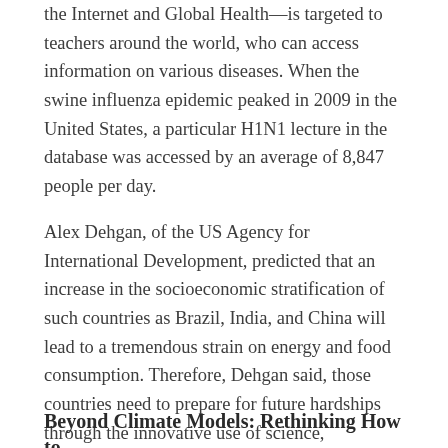the Internet and Global Health—is targeted to teachers around the world, who can access information on various diseases. When the swine influenza epidemic peaked in 2009 in the United States, a particular H1N1 lecture in the database was accessed by an average of 8,847 people per day.
Alex Dehgan, of the US Agency for International Development, predicted that an increase in the socioeconomic stratification of such countries as Brazil, India, and China will lead to a tremendous strain on energy and food consumption. Therefore, Dehgan said, those countries need to prepare for future hardships through the innovative use of science, technology, and engineering. Ready availability of scientific literature is key to this preparation, Dehgan said.
Beyond Climate Models: Rethinking How to